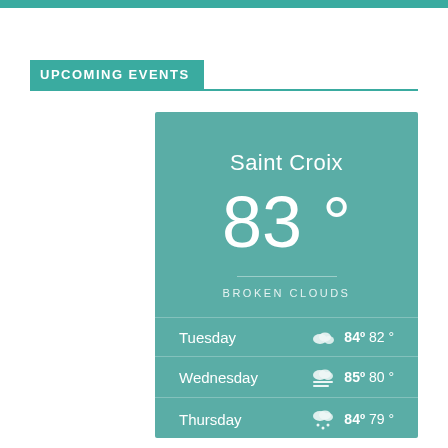UPCOMING EVENTS
[Figure (infographic): Weather widget card showing Saint Croix weather: 83° Broken Clouds, with 4-day forecast: Tuesday 84° 82°, Wednesday 85° 80°, Thursday 84° 79°, Friday 84° 79°]